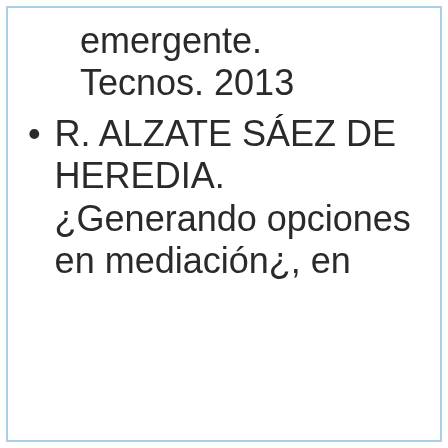emergente. Tecnos. 2013
R. ALZATE SÁEZ DE HEREDIA. ¿Generando opciones en mediación¿, en